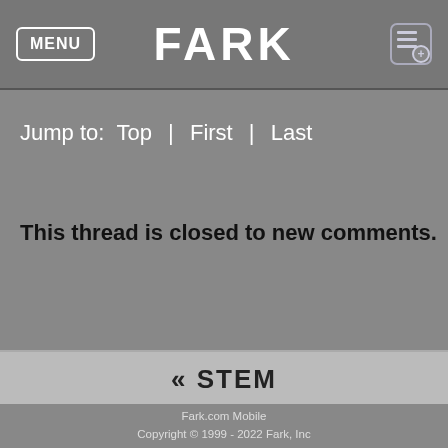MENU | FARK
Jump to:  Top  |  First  |  Last
This thread is closed to new comments.
« STEM
Fark.com Mobile
Copyright © 1999 - 2022 Fark, Inc
Last updated: Aug 20 2022 21:40:24
Contact Us via Farkback | Report error | TOS/legal/privacy
Do Not Sell My Personal Information
Full site